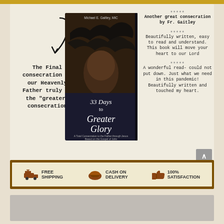[Figure (illustration): Book cover of '33 Days to Greater Glory' by Michael E. Gaitley, MIC, showing a crown of thorns on a dark background]
The Final consecration to our Heavenly Father truly is the "greater" consecration
★★★★★
Another great consecration by Fr. Gaitley
★★★★★
Beautifully written, easy to read and understand. This book will move your heart to our Lord
★★★★★
A wonderful read- could not put down. Just what we need in this pandemic! Beautifully written and touched my heart.
FREE SHIPPING   CASH ON DELIVERY   100% SATISFACTION